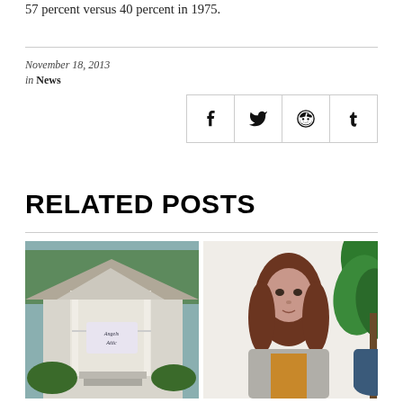57 percent versus 40 percent in 1975.
November 18, 2013
in News
[Figure (other): Social share buttons: Facebook, Twitter, Reddit, Tumblr]
RELATED POSTS
[Figure (photo): Two photos side by side: left shows Angels Attic building with a gazebo-style entrance and sign reading 'Angels Attic'; right shows a woman with auburn hair speaking, seated near a green plant.]